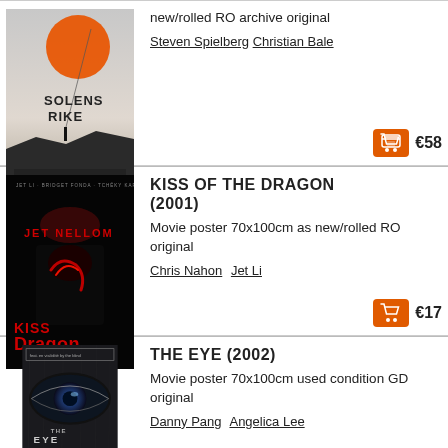[Figure (photo): Movie poster for Solens Rike (Empire of the Sun) showing an orange sun and a figure on a dark landscape]
new/rolled RO archive original
Steven Spielberg  Christian Bale
€58
[Figure (photo): Movie poster for Kiss of the Dragon (2001) with Jet Li on dark background with red title text]
KISS OF THE DRAGON (2001)
Movie poster 70x100cm as new/rolled RO original
Chris Nahon  Jet Li
€17
[Figure (photo): Movie poster for The Eye (2002) showing a close-up of a human eye in grayscale]
THE EYE (2002)
Movie poster 70x100cm used condition GD original
Danny Pang  Angelica Lee